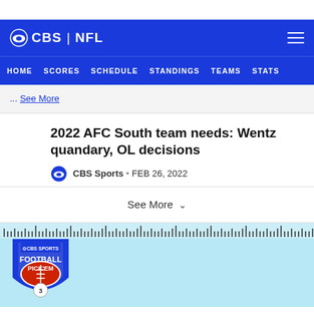CBS | NFL
HOME  SCORES  SCHEDULE  STANDINGS  TEAMS  STATS
... See More
2022 AFC South team needs: Wentz quandary, OL decisions
CBS Sports • FEB 26, 2022
See More
[Figure (logo): CBS Sports Football Pick'em shield logo on light blue background with ruler/yardage line decoration at top]